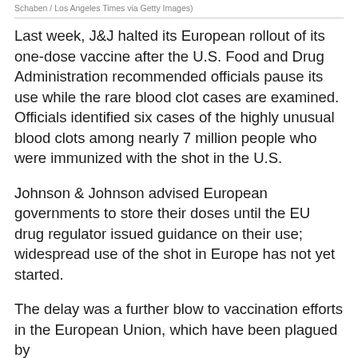Schaben / Los Angeles Times via Getty Images)
Last week, J&J halted its European rollout of its one-dose vaccine after the U.S. Food and Drug Administration recommended officials pause its use while the rare blood clot cases are examined. Officials identified six cases of the highly unusual blood clots among nearly 7 million people who were immunized with the shot in the U.S.
Johnson & Johnson advised European governments to store their doses until the EU drug regulator issued guidance on their use; widespread use of the shot in Europe has not yet started.
The delay was a further blow to vaccination efforts in the European Union, which have been plagued by